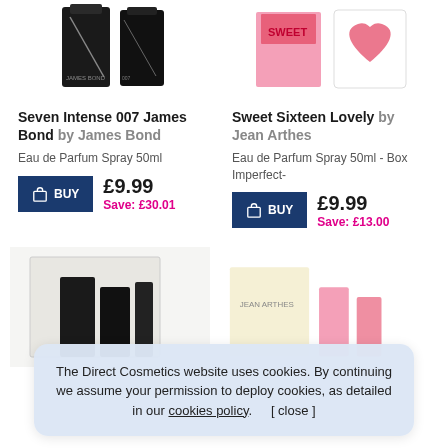[Figure (photo): Product image of Seven Intense 007 James Bond perfume - dark bottles]
[Figure (photo): Product image of Sweet Sixteen Lovely by Jean Arthes - pink box with heart]
Seven Intense 007 James Bond by James Bond
Eau de Parfum Spray 50ml
£9.99
Save: £30.01
Sweet Sixteen Lovely by Jean Arthes
Eau de Parfum Spray 50ml - Box Imperfect-
£9.99
Save: £13.00
[Figure (photo): Bottom row partial product images]
The Direct Cosmetics website uses cookies. By continuing we assume your permission to deploy cookies, as detailed in our cookies policy.    [ close ]